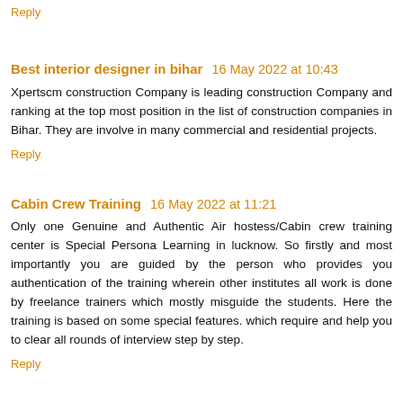Reply
Best interior designer in bihar  16 May 2022 at 10:43
Xpertscm construction Company is leading construction Company and ranking at the top most position in the list of construction companies in Bihar. They are involve in many commercial and residential projects.
Reply
Cabin Crew Training  16 May 2022 at 11:21
Only one Genuine and Authentic Air hostess/Cabin crew training center is Special Persona Learning in lucknow. So firstly and most importantly you are guided by the person who provides you authentication of the training wherein other institutes all work is done by freelance trainers which mostly misguide the students. Here the training is based on some special features. which require and help you to clear all rounds of interview step by step.
Reply